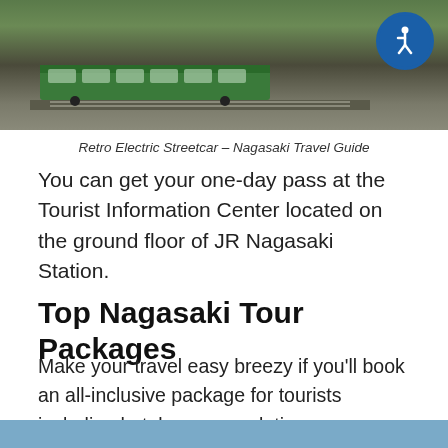[Figure (photo): Retro electric streetcar / tram on tracks, green colored, with accessibility icon overlay in top right corner]
Retro Electric Streetcar – Nagasaki Travel Guide
You can get your one-day pass at the Tourist Information Center located on the ground floor of JR Nagasaki Station.
Top Nagasaki Tour Packages
Make your travel easy breezy if you'll book an all-inclusive package for tourists including hotel accommodation, transportation, and itinerary. Here are some of the recommended tour packages from KLOOK for your worry-free journey in Nagasaki.
[Figure (photo): Bottom blue-grey banner, partial image]